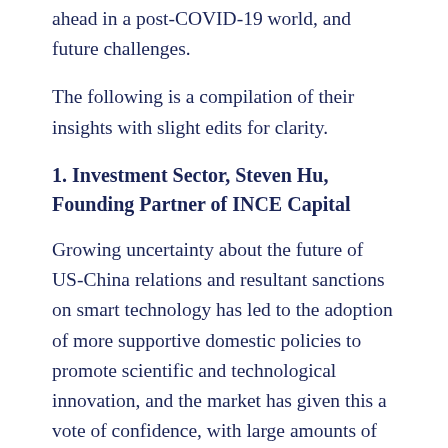ahead in a post-COVID-19 world, and future challenges.
The following is a compilation of their insights with slight edits for clarity.
1. Investment Sector, Steven Hu, Founding Partner of INCE Capital
Growing uncertainty about the future of US-China relations and resultant sanctions on smart technology has led to the adoption of more supportive domestic policies to promote scientific and technological innovation, and the market has given this a vote of confidence, with large amounts of capital inflows to sustain